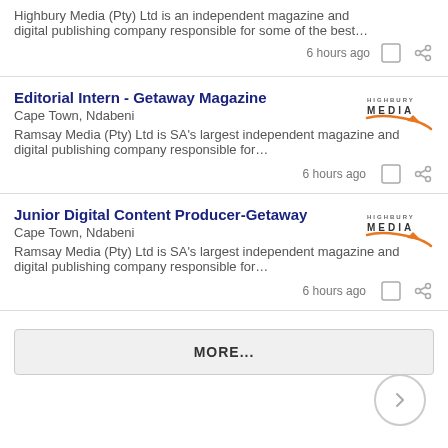Highbury Media (Pty) Ltd is an independent magazine and digital publishing company responsible for some of the best…
6 hours ago
Editorial Intern - Getaway Magazine
Cape Town, Ndabeni
Ramsay Media (Pty) Ltd is SA's largest independent magazine and digital publishing company responsible for…
6 hours ago
Junior Digital Content Producer-Getaway
Cape Town, Ndabeni
Ramsay Media (Pty) Ltd is SA's largest independent magazine and digital publishing company responsible for…
6 hours ago
MORE...